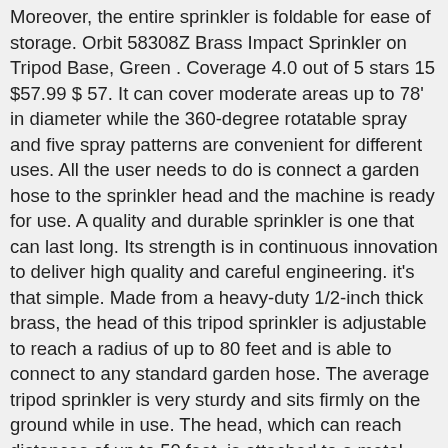Moreover, the entire sprinkler is foldable for ease of storage. Orbit 58308Z Brass Impact Sprinkler on Tripod Base, Green . Coverage 4.0 out of 5 stars 15 $57.99 $ 57. It can cover moderate areas up to 78' in diameter while the 360-degree rotatable spray and five spray patterns are convenient for different uses. All the user needs to do is connect a garden hose to the sprinkler head and the machine is ready for use. A quality and durable sprinkler is one that can last long. Its strength is in continuous innovation to deliver high quality and careful engineering. it's that simple. Made from a heavy-duty 1/2-inch thick brass, the head of this tripod sprinkler is adjustable to reach a radius of up to 80 feet and is able to connect to any standard garden hose. The average tripod sprinkler is very sturdy and sits firmly on the ground while in use. The head, which can reach distances of up to 50 feet, is attached to a metal tripod that can be adjusted in height from 25 to 48 inches. From the traditional sprinklers, tripod sprinklers have appeared as a game-changer in ensuring that your plants and flowers are hydrated. to 48 in. If this is your very first time buying from Melnor (although this brand is